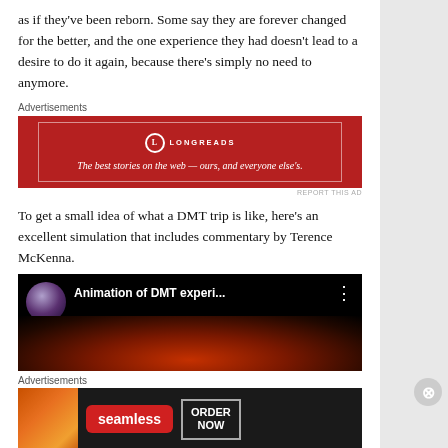as if they've been reborn. Some say they are forever changed for the better, and the one experience they had doesn't lead to a desire to do it again, because there's simply no need to anymore.
Advertisements
[Figure (illustration): Longreads advertisement banner in red with text: 'The best stories on the web — ours, and everyone else's.']
REPORT THIS AD
To get a small idea of what a DMT trip is like, here's an excellent simulation that includes commentary by Terence McKenna.
[Figure (screenshot): YouTube video thumbnail showing 'Animation of DMT experi...' with a person's portrait and psychedelic animation in red and black tones.]
Advertisements
[Figure (illustration): Seamless food delivery advertisement with pizza image, Seamless logo button, and ORDER NOW button on dark background.]
REPORT THIS AD